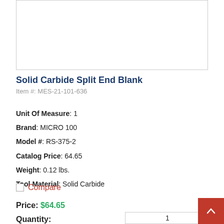[Figure (photo): Product image placeholder area (white box with border) for Solid Carbide Split End Blank]
Solid Carbide Split End Blank
Item #: MES-21-101-636
Unit Of Measure: 1
Brand: MICRO 100
Model #: RS-375-2
Catalog Price: 64.65
Weight: 0.12 lbs.
Tool Material: Solid Carbide
Compare
Price: $64.65
Quantity:
1